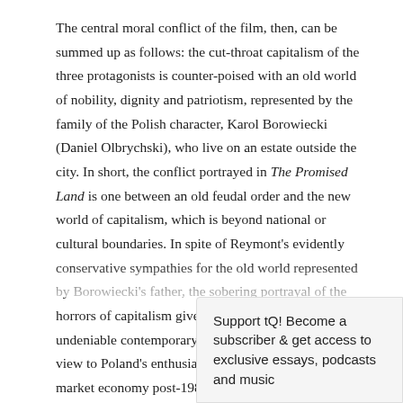The central moral conflict of the film, then, can be summed up as follows: the cut-throat capitalism of the three protagonists is counter-poised with an old world of nobility, dignity and patriotism, represented by the family of the Polish character, Karol Borowiecki (Daniel Olbrychski), who live on an estate outside the city. In short, the conflict portrayed in The Promised Land is one between an old feudal order and the new world of capitalism, which is beyond national or cultural boundaries. In spite of Reymont's evidently conservative sympathies for the old world represented by Borowiecki's father, the sobering portrayal of the horrors of capitalism gives Wajda's masterpiece undeniable contemporary resonance, not least with a view to Poland's enthusiastic embrace of the free market economy post-1989. (There is something unnerving about the fact that the giant Poznanski factory, which was used as a set throughout the film, has since been turned into a massive shopping m… society in t… Polish hist…
Support tQ! Become a subscriber & get access to exclusive essays, podcasts and music